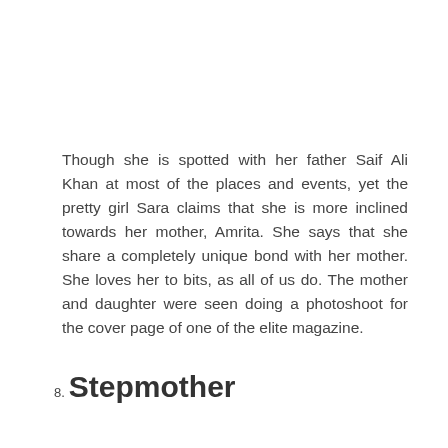Though she is spotted with her father Saif Ali Khan at most of the places and events, yet the pretty girl Sara claims that she is more inclined towards her mother, Amrita. She says that she share a completely unique bond with her mother. She loves her to bits, as all of us do. The mother and daughter were seen doing a photoshoot for the cover page of one of the elite magazine.
8. Stepmother